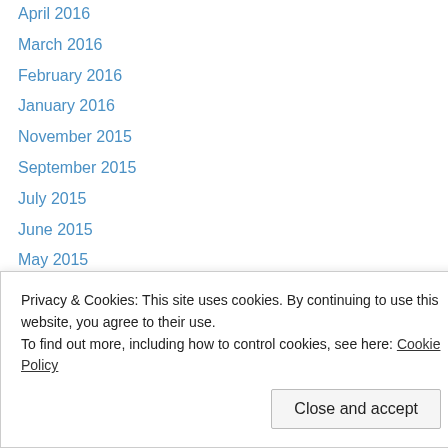April 2016
March 2016
February 2016
January 2016
November 2015
September 2015
July 2015
June 2015
May 2015
April 2015
March 2015
February 2015
January 2015
December 2014
May 2014
Privacy & Cookies: This site uses cookies. By continuing to use this website, you agree to their use. To find out more, including how to control cookies, see here: Cookie Policy
Close and accept